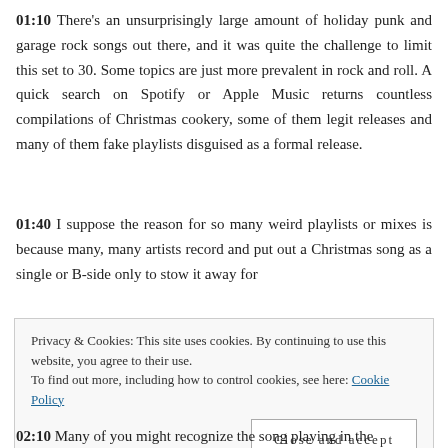01:10 There's an unsurprisingly large amount of holiday punk and garage rock songs out there, and it was quite the challenge to limit this set to 30. Some topics are just more prevalent in rock and roll. A quick search on Spotify or Apple Music returns countless compilations of Christmas cookery, some of them legit releases and many of them fake playlists disguised as a formal release.
01:40 I suppose the reason for so many weird playlists or mixes is because many, many artists record and put out a Christmas song as a single or B-side only to stow it away for
Privacy & Cookies: This site uses cookies. By continuing to use this website, you agree to their use.
To find out more, including how to control cookies, see here: Cookie Policy
Close and accept
02:10 Many of you might recognize the song playing in the